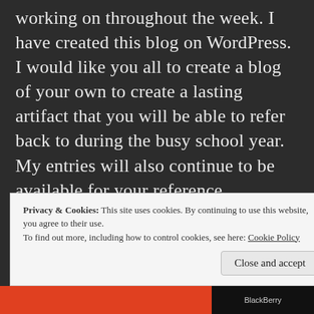working on throughout the week. I have created this blog on WordPress. I would like you all to create a blog of your own to create a lasting artifact that you will be able to refer back to during the busy school year. My entries will also continue to be available for your reference.
Last spring I taught a full semester course called Craft Technologies in the Instructional
Privacy & Cookies: This site uses cookies. By continuing to use this website, you agree to their use.
To find out more, including how to control cookies, see here: Cookie Policy